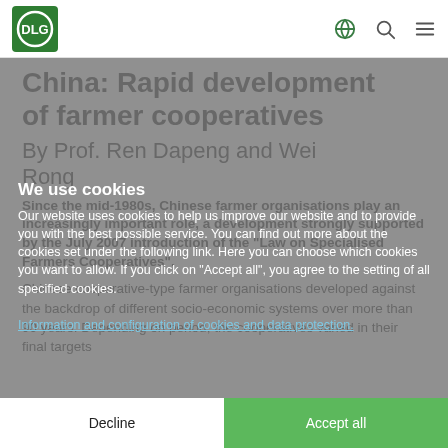DLG logo and navigation icons (globe, search, menu)
China: Rapid development of farmer cooperatives
By Prof. Ren Dapeng and Wei Rong
Since the mid-1980s, Chinese farmer organisations play an increasingly important role, a development strongly supported by the July 2007 introduction of the “Law on Specialised Farmers Cooperatives”.
Chinese cooperative-type farmer organisations developed against the backdrop of different socio-economic systems over more than 90 years. Depending on period, the cooperatives varied in their final targets
We use cookies

Our website uses cookies to help us improve our website and to provide you with the best possible service. You can find out more about the cookies set under the following link. Here you can choose which cookies you want to allow. If you click on "Accept all", you agree to the setting of all specified cookies.

Information and configuration of cookies and data protection.
Decline
Accept all